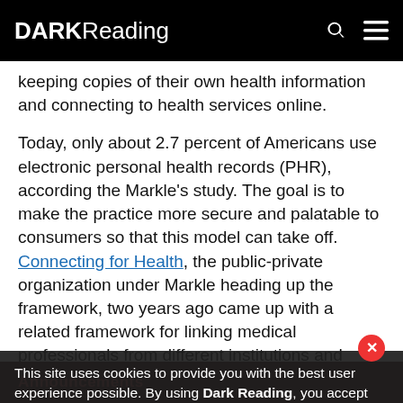DARK Reading
keeping copies of their own health information and connecting to health services online.
Today, only about 2.7 percent of Americans use electronic personal health records (PHR), according the Markle's study. The goal is to make the practice more secure and palatable to consumers so that this model can take off. Connecting for Health, the public-private organization under Markle heading up the framework, two years ago came up with a related framework for linking medical professionals from different institutions and entities to provide access. The framework is released. Individuals can then control, store, and share their health data with anyone they want.
This site uses cookies to provide you with the best user experience possible. By using Dark Reading, you accept our use of cookies.
Announcements